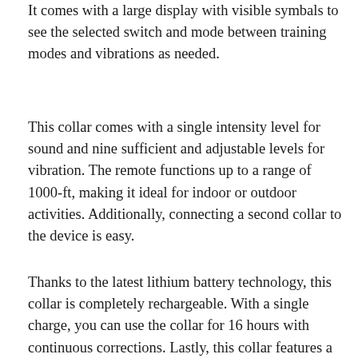It comes with a large display with visible symbals to see the selected switch and mode between training modes and vibrations as needed.
This collar comes with a single intensity level for sound and nine sufficient and adjustable levels for vibration. The remote functions up to a range of 1000-ft, making it ideal for indoor or outdoor activities. Additionally, connecting a second collar to the device is easy.
Thanks to the latest lithium battery technology, this collar is completely rechargeable. With a single charge, you can use the collar for 16 hours with continuous corrections. Lastly, this collar features a battery-saving standby mode